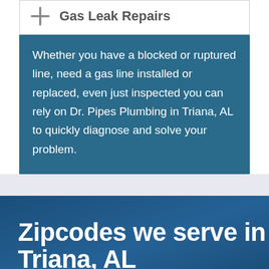Gas Leak Repairs
Whether you have a blocked or ruptured line, need a gas line installed or replaced, even just inspected you can rely on Dr. Pipes Plumbing in Triana, AL to quickly diagnose and solve your problem.
Zipcodes we serve in Triana, AL
Our plumbers and drain experts are on call